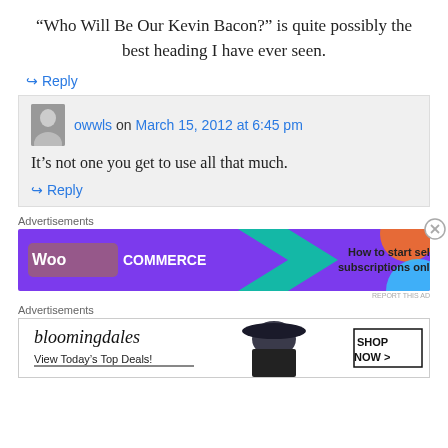“Who Will Be Our Kevin Bacon?” is quite possibly the best heading I have ever seen.
↳ Reply
owwls on March 15, 2012 at 6:45 pm
It’s not one you get to use all that much.
↳ Reply
Advertisements
[Figure (screenshot): WooCommerce advertisement banner: purple background with WooCommerce logo and text 'How to start selling subscriptions online']
REPORT THIS AD
Advertisements
[Figure (screenshot): Bloomingdale's advertisement banner: 'bloomingdales View Today’s Top Deals!' with woman in hat and 'SHOP NOW >' button]